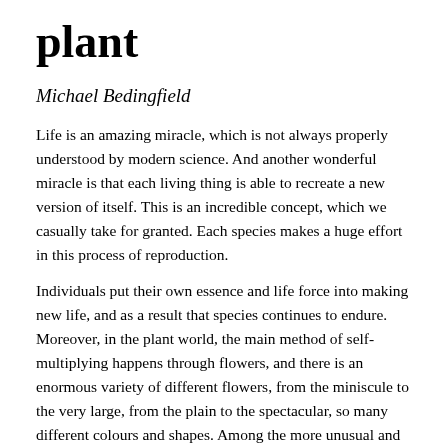plant
Michael Bedingfield
Life is an amazing miracle, which is not always properly understood by modern science. And another wonderful miracle is that each living thing is able to recreate a new version of itself. This is an incredible concept, which we casually take for granted. Each species makes a huge effort in this process of reproduction.
Individuals put their own essence and life force into making new life, and as a result that species continues to endure. Moreover, in the plant world, the main method of self-multiplying happens through flowers, and there is an enormous variety of different flowers, from the miniscule to the very large, from the plain to the spectacular, so many different colours and shapes. Among the more unusual and surprising, is the Purplish Beard Orchid, known botanically as Calochilus robertsonii.
This plant is a perennial, which preserves itself in underground tubers when dormant. If conditions are favourable, its growing season will at first see a long primary leaf grow from the tuber. Later an erect stem will